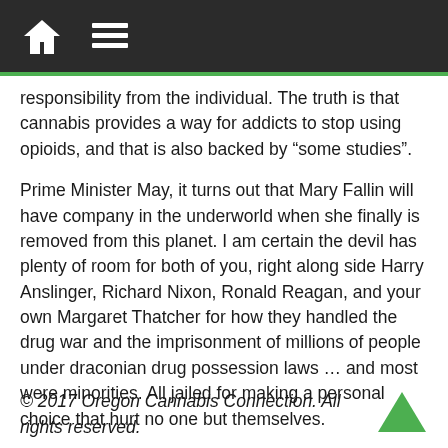responsibility from the individual. The truth is that cannabis provides a way for addicts to stop using opioids, and that is also backed by “some studies”.
Prime Minister May, it turns out that Mary Fallin will have company in the underworld when she finally is removed from this planet. I am certain the devil has plenty of room for both of you, right along side Harry Anslinger, Richard Nixon, Ronald Reagan, and your own Margaret Thatcher for how they handled the drug war and the imprisonment of millions of people under draconian drug possession laws … and most were minorities. All jailed for making a personal choice that hurt no one but themselves.
© 2017 Oregon Cannabis Connection. All rights reserved.